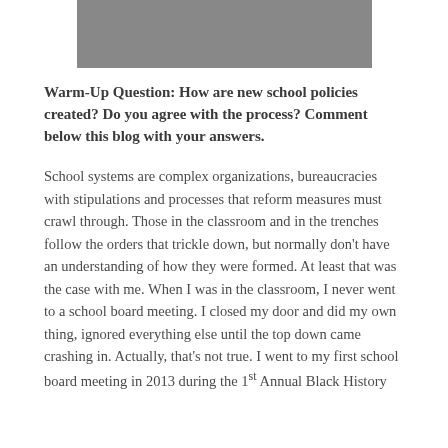[Figure (photo): Group photo of students or people, partially cropped at top of page]
Warm-Up Question: How are new school policies created? Do you agree with the process? Comment below this blog with your answers.
School systems are complex organizations, bureaucracies with stipulations and processes that reform measures must crawl through. Those in the classroom and in the trenches follow the orders that trickle down, but normally don't have an understanding of how they were formed. At least that was the case with me. When I was in the classroom, I never went to a school board meeting. I closed my door and did my own thing, ignored everything else until the top down came crashing in. Actually, that's not true. I went to my first school board meeting in 2013 during the 1st Annual Black History